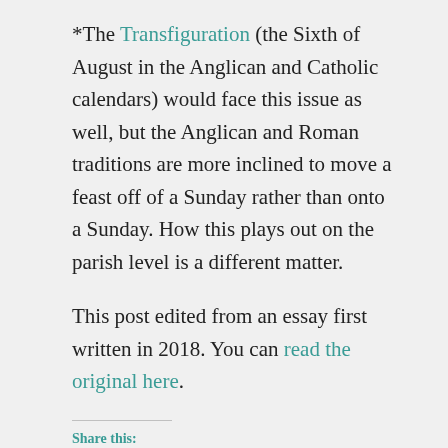*The Transfiguration (the Sixth of August in the Anglican and Catholic calendars) would face this issue as well, but the Anglican and Roman traditions are more inclined to move a feast off of a Sunday rather than onto a Sunday. How this plays out on the parish level is a different matter.
This post edited from an essay first written in 2018. You can read the original here.
Share this:
Twitter  Facebook
Loading...